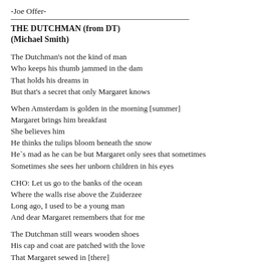-Joe Offer-
THE DUTCHMAN (from DT)
(Michael Smith)
The Dutchman's not the kind of man
Who keeps his thumb jammed in the dam
That holds his dreams in
But that's a secret that only Margaret knows
When Amsterdam is golden in the morning [summer]
Margaret brings him breakfast
She believes him
He thinks the tulips bloom beneath the snow
He`s mad as he can be but Margaret only sees that sometimes
Sometimes she sees her unborn children in his eyes
CHO: Let us go to the banks of the ocean
Where the walls rise above the Zuiderzee
Long ago, I used to be a young man
And dear Margaret remembers that for me
The Dutchman still wears wooden shoes
His cap and coat are patched with the love
That Margaret sewed in [there]